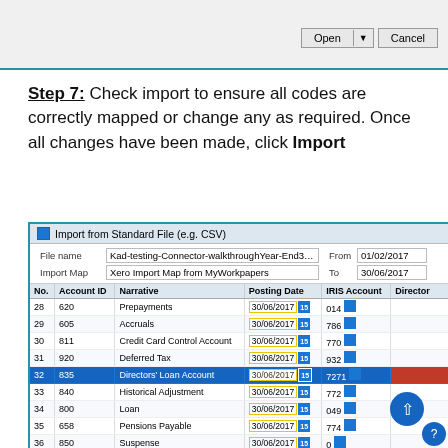[Figure (screenshot): Dialog with Open and Cancel buttons at top of page]
Step 7: Check import to ensure all codes are correctly mapped or change any as required. Once all changes have been made, click Import
[Figure (screenshot): Import from Standard File (e.g. CSV) dialog showing a table with columns No., Account ID, Narrative, Posting Date, IRIS Account, Director. Rows include: 28 620 Prepayments 30/06/2017 014; 29 605 Accruals 30/06/2017 786; 30 811 Credit Card Control Account 30/06/2017 770; 31 920 Deferred Tax 30/06/2017 932; 32 835 Directors Loan Account 30/06/2017 7271 (highlighted in blue with red Director cell); 33 840 Historical Adjustment 30/06/2017 772; 34 800 Loan 30/06/2017 049; 35 658 Pensions Payable 30/06/2017 774; 36 850 Suspense 30/06/2017 0]